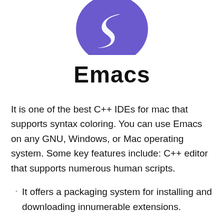[Figure (logo): Emacs logo: a purple/blue circular icon with a stylized white 'S' or snake-like shape on it]
Emacs
It is one of the best C++ IDEs for mac that supports syntax coloring. You can use Emacs on any GNU, Windows, or Mac operating system. Some key features include: C++ editor that supports numerous human scripts.
It offers a packaging system for installing and downloading innumerable extensions.